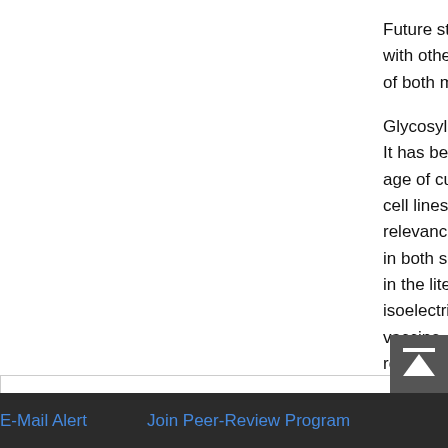Future studies are proposed with other charged species of both molecules using D
Glycosylation of proteins i It has been shown that th age of culture are factors cell lines or in fermenta relevance of glycoforms i in both scales could be re in the literature [28]. How isoelectric focalization an vaccine, adsorbed to alun role in the biologic of heavy chain. As sugar epitopes like safety between bo
Top
ABSTRACT
Introduction
Materials and Methods
Results
Discussion
E-Mail Alert    Join Peer-Review Program